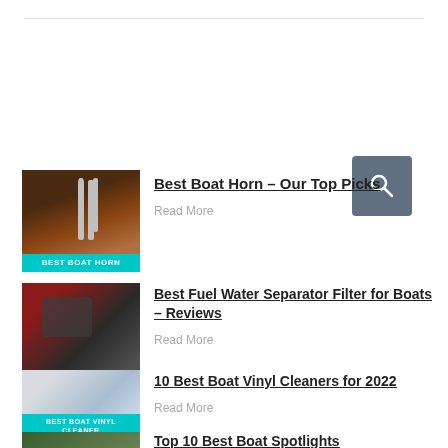[Figure (illustration): Search button icon (magnifying glass) on dark gray-blue background]
[Figure (photo): Boat horn image with cyan label reading BEST BOAT HORN]
Best Boat Horn – Our Top Picks
Read More
[Figure (photo): Fuel water separator filter image with cyan label reading BEST FUEL WATER]
Best Fuel Water Separator Filter for Boats – Reviews
Read More
[Figure (photo): Boat vinyl interior image with cyan label reading BEST BOAT VINYL CLEANER]
10 Best Boat Vinyl Cleaners for 2022
Read More
[Figure (photo): Partial image of boat spotlights article thumbnail]
Top 10 Best Boat Spotlights